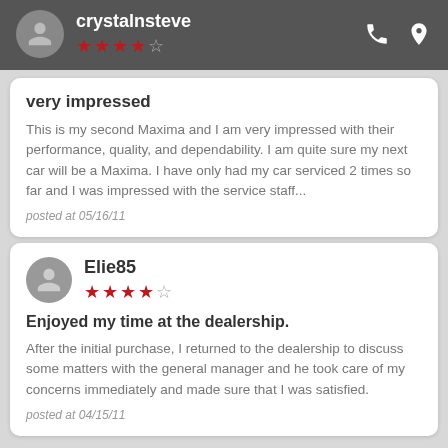crystalnsteve
★★★★☆ (4 out of 5 stars)
very impressed
This is my second Maxima and I am very impressed with their performance, quality, and dependability. I am quite sure my next car will be a Maxima. I have only had my car serviced 2 times so far and I was impressed with the service staff...
posted at 05/16/11
Elie85
★★★★☆ (4 out of 5 stars)
Enjoyed my time at the dealership.
After the initial purchase, I returned to the dealership to discuss some matters with the general manager and he took care of my concerns immediately and made sure that I was satisfied.
posted at 04/15/11